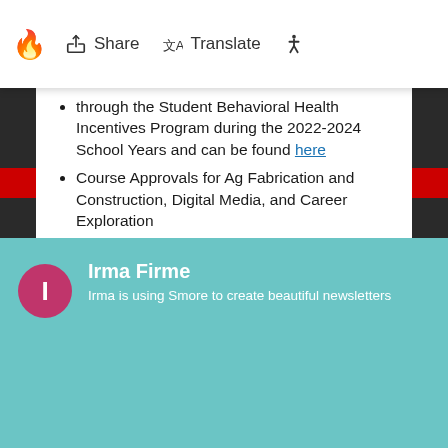[Figure (screenshot): Mobile browser toolbar with fire emoji icon, Share button, Translate button, and accessibility icon]
through the Student Behavioral Health Incentives Program during the 2022-2024 School Years and can be found here
Course Approvals for Ag Fabrication and Construction, Digital Media, and Career Exploration
College & Career Ready Lab Kits & Software for Main Street Middle School for the 2022-2023 School Year
Agreement with the Greenfield Community Science Workshop for Hands-On Science Enrichment Sessions for the 2022 Summer and can be found here
Irma Firme — Irma is using Smore to create beautiful newsletters